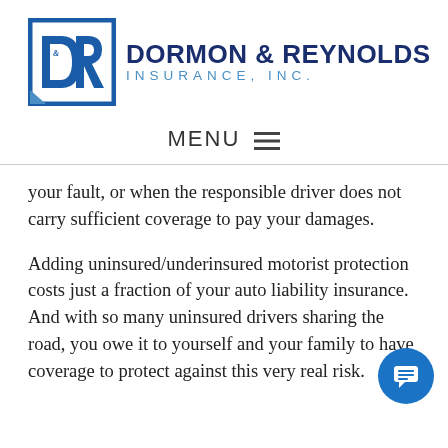[Figure (logo): Dormon & Reynolds Insurance, Inc. logo with D&R monogram in blue square and company name in navy and blue text]
MENU ☰
your fault, or when the responsible driver does not carry sufficient coverage to pay your damages.
Adding uninsured/underinsured motorist protection costs just a fraction of your auto liability insurance. And with so many uninsured drivers sharing the road, you owe it to yourself and your family to have coverage to protect against this very real risk.